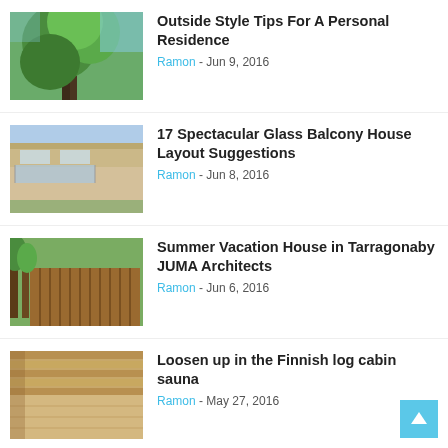[Figure (photo): Tall green tree canopy with blue sky, exterior greenery]
Outside Style Tips For A Personal Residence
Ramon - Jun 9, 2016
[Figure (photo): Modern white house with glass balcony and overhanging roof]
17 Spectacular Glass Balcony House Layout Suggestions
Ramon - Jun 8, 2016
[Figure (photo): Wooden slat fence exterior with trees and outdoor area]
Summer Vacation House in Tarragonaby JUMA Architects
Ramon - Jun 6, 2016
[Figure (photo): Interior of wooden log cabin sauna with slatted wood ceiling]
Loosen up in the Finnish log cabin sauna
Ramon - May 27, 2016